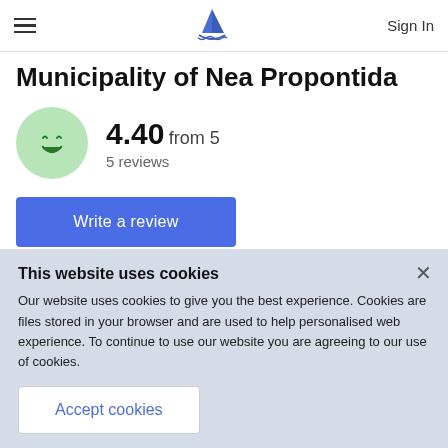≡   [logo]   Sign In
Municipality of Nea Propontida
[Figure (illustration): Green circle with a happy smiley face emoji icon]
4.40 from 5
5 reviews
Write a review
This website uses cookies
Our website uses cookies to give you the best experience. Cookies are files stored in your browser and are used to help personalised web experience. To continue to use our website you are agreeing to our use of cookies.
Accept cookies